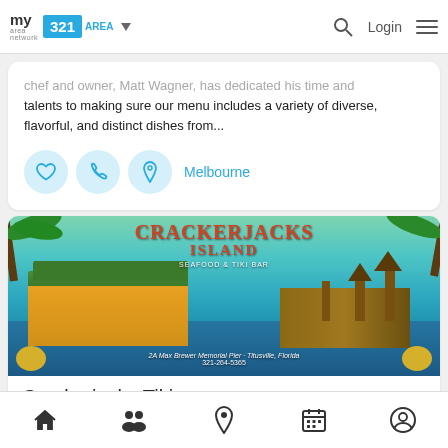my area network | 321 AREA
chef and owner, Matt Wagner, has dedicated his time and talents to making sure our menu includes a variety of diverse, flavorful, and distinct dishes from...
[Figure (screenshot): Crackerjacks Island Seafood & Tiki Bar restaurant banner image showing waterfront building with text '2A Max Brewer Memorial Pier - Titusville, Florida 321-264-5365']
Crackerjacks Tiki
Bar & Restaurant $$
Bottom navigation bar with home, people, location, calendar, and profile icons